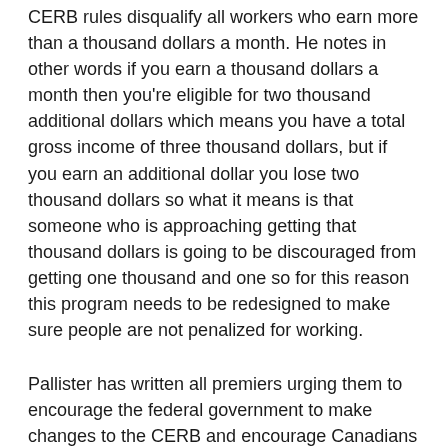CERB rules disqualify all workers who earn more than a thousand dollars a month. He notes in other words if you earn a thousand dollars a month then you're eligible for two thousand additional dollars which means you have a total gross income of three thousand dollars, but if you earn an additional dollar you lose two thousand dollars so what it means is that someone who is approaching getting that thousand dollars is going to be discouraged from getting one thousand and one so for this reason this program needs to be redesigned to make sure people are not penalized for working.
Pallister has written all premiers urging them to encourage the federal government to make changes to the CERB and encourage Canadians to transition back to their jobs with the support of the expanded Canada Emergency Wage Subsidy.